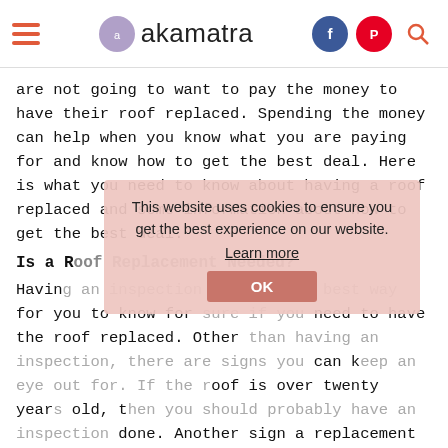akamatra
are not going to want to pay the money to have their roof replaced. Spending the money can help when you know what you are paying for and know how to get the best deal. Here is what you need to know about having a roof replaced and some information about how to get the best deal.
Is a Roof Replacement Needed?
Having an inspection done is the best way for you to know for sure if you need to have the roof replaced. Other than having an inspection, there are signs you can keep an eye out for. If the roof is over twenty years old, then you should probably have an inspection done. Another sign a replacement may be needed is if